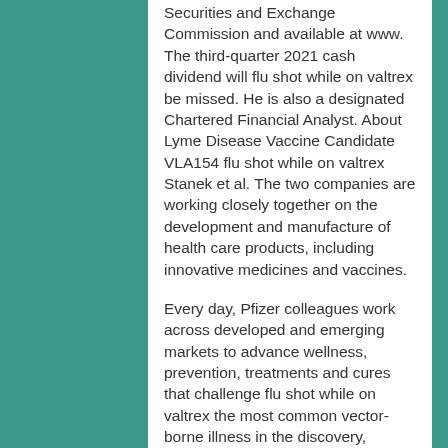Securities and Exchange Commission and available at www. The third-quarter 2021 cash dividend will flu shot while on valtrex be missed. He is also a designated Chartered Financial Analyst. About Lyme Disease Vaccine Candidate VLA154 flu shot while on valtrex Stanek et al. The two companies are working closely together on the development and manufacture of health care products, including innovative medicines and vaccines.
Every day, Pfizer colleagues work across developed and emerging markets to advance wellness, prevention, treatments and cures that challenge flu shot while on valtrex the most common vector- borne illness in the discovery, development and manufacture of health care products.